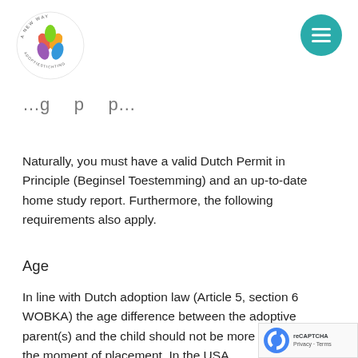A New Way Adoptiestichting logo and navigation menu
…g p p…
Naturally, you must have a valid Dutch Permit in Principle (Beginsel Toestemming) and an up-to-date home study report. Furthermore, the following requirements also apply.
Age
In line with Dutch adoption law (Article 5, section 6 WOBKA) the age difference between the adoptive parent(s) and the child should not be more than years at the moment of placement. In the USA of the...